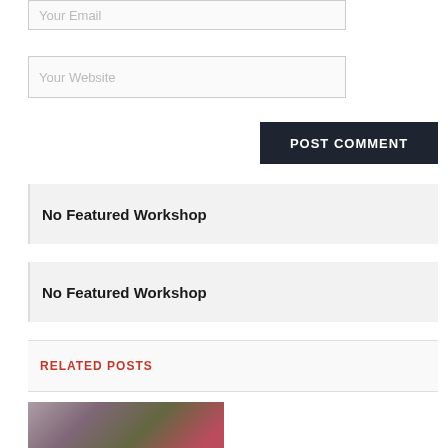[Figure (screenshot): A web form input field with placeholder text 'Your Email']
[Figure (screenshot): A web form input field with placeholder text 'Your Website']
[Figure (screenshot): A dark button labeled 'POST COMMENT']
No Featured Workshop
No Featured Workshop
RELATED POSTS
[Figure (photo): A partial photo showing flowers and foliage in muted tones]